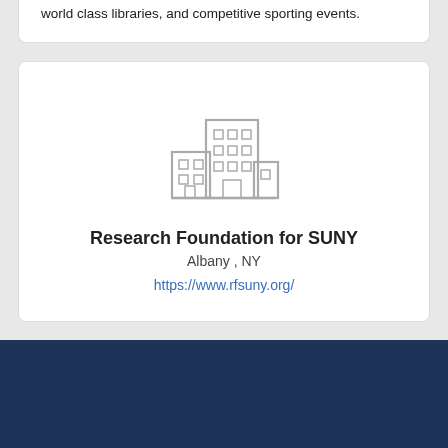world class libraries, and competitive sporting events.
[Figure (illustration): Gray building/office icon representing an organization]
Research Foundation for SUNY
Albany , NY
https://www.rfsuny.org/
Copyright Notice | Privacy Policy | Terms of Service | Do...